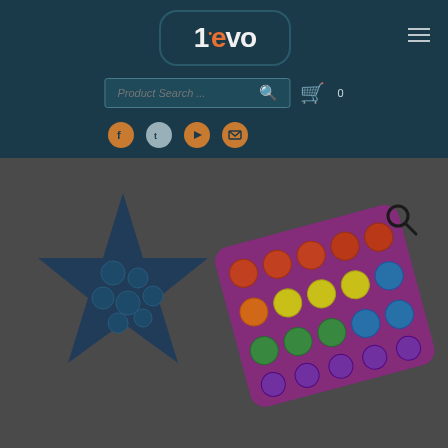[Figure (logo): 1evo brand logo in rounded rectangle on dark teal header background]
[Figure (infographic): Hamburger menu icon (three horizontal lines) in top right corner]
[Figure (screenshot): Product search bar with magnifying glass icon and shopping cart icon with 0 count]
[Figure (infographic): Four social media icon circles: Facebook, Twitter, YouTube, and email/newsletter]
[Figure (photo): Product photo showing fidget toys on dark gray background: a blue star-shaped pop-it, a rainbow square pop-it, and partially visible pink circular fidget toy, with a magnifying glass search icon overlay in the upper right]